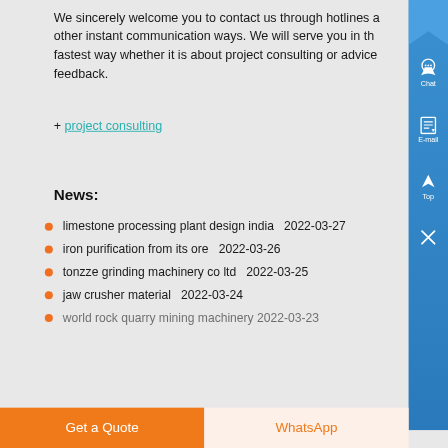We sincerely welcome you to contact us through hotlines and other instant communication ways. We will serve you in the fastest way whether it is about project consulting or advice feedback.
+ project consulting
News:
limestone processing plant design india  2022-03-27
iron purification from its ore  2022-03-26
tonzze grinding machinery co ltd  2022-03-25
jaw crusher material  2022-03-24
world rock quarry mining machinery  2022-03-23